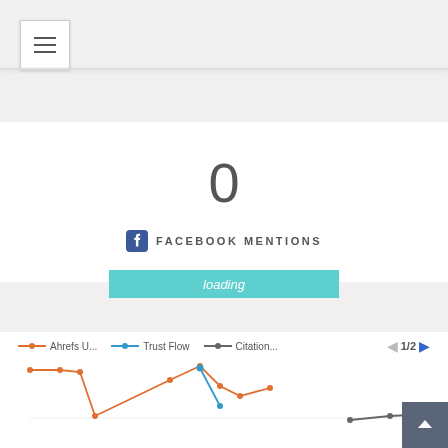[Figure (other): Hamburger menu button (three horizontal lines) in top left corner]
SOCIAL MEDIA — Updated 22 Jun 2017
0
FACEBOOK MENTIONS
loading
DEVELOPMENT
[Figure (line-chart): Line chart showing Ahrefs U..., Trust Flow, and Citation... metrics over time. Red line (Ahrefs) starts high, drops, then rises and falls. Blue line (Trust Flow) shows a peak. Grey line (Citation) shown partially.]